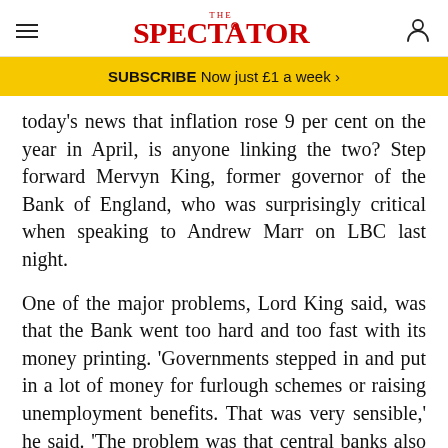THE SPECTATOR
SUBSCRIBE Now just £1 a week >
today's news that inflation rose 9 per cent on the year in April, is anyone linking the two? Step forward Mervyn King, former governor of the Bank of England, who was surprisingly critical when speaking to Andrew Marr on LBC last night.
One of the major problems, Lord King said, was that the Bank went too hard and too fast with its money printing. 'Governments stepped in and put in a lot of money for furlough schemes or raising unemployment benefits. That was very sensible,' he said. 'The problem was that central banks also printed a great deal of money and that wasn't